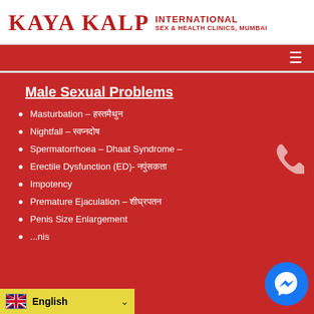[Figure (logo): Kaya Kalp International Sex & Health Clinics, Mumbai logo with red text on white background]
Navigation bar with hamburger menu
Male Sexual Problems
Masturbation – हस्तमैथुन
Nightfall – स्वप्नदोष
Spermatorrhoea – Dhaat Syndrome –
Erectile Dysfunction (ED)- नपुंसकता
Impotency
Premature Ejaculation – शीघ्रपतन
Penis Size Enlargement
...nis